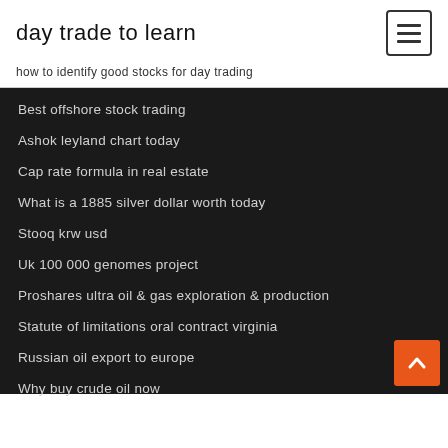day trade to learn
how to identify good stocks for day trading
Best offshore stock trading
Ashok leyland chart today
Cap rate formula in real estate
What is a 1885 silver dollar worth today
Stooq krw usd
Uk 100 000 genomes project
Proshares ultra oil & gas exploration & production
Statute of limitations oral contract virginia
Russian oil export to europe
Why buy crude oil now